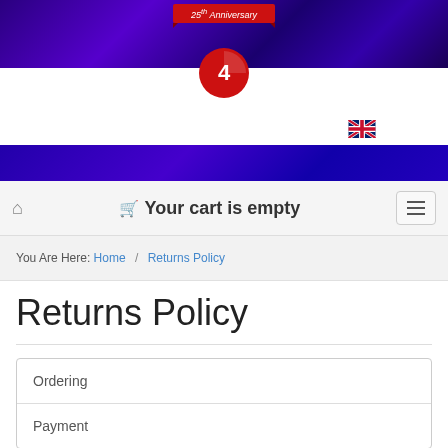[Figure (illustration): Website header with purple/dark blue banner, red '25th Anniversary' ribbon, and circular logo with number 4]
[Figure (illustration): UK flag icon in top right area]
Your cart is empty
You Are Here: Home / Returns Policy
Returns Policy
Ordering
Payment